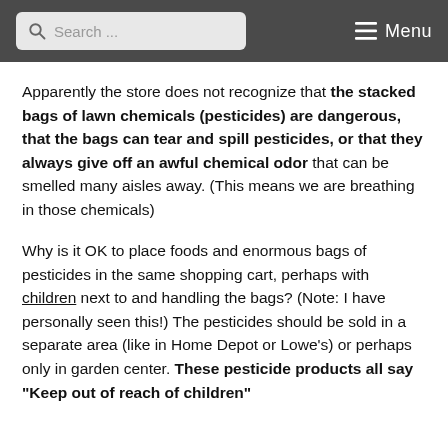Search ... Menu
Apparently the store does not recognize that the stacked bags of lawn chemicals (pesticides) are dangerous, that the bags can tear and spill pesticides, or that they always give off an awful chemical odor that can be smelled many aisles away. (This means we are breathing in those chemicals)
Why is it OK to place foods and enormous bags of pesticides in the same shopping cart, perhaps with children next to and handling the bags? (Note: I have personally seen this!) The pesticides should be sold in a separate area (like in Home Depot or Lowe's) or perhaps only in garden center. These pesticide products all say "Keep out of reach of children"